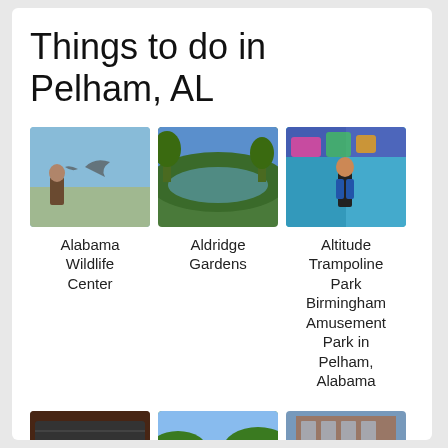Things to do in Pelham, AL
[Figure (photo): Photo of Alabama Wildlife Center - bird in flight with handler]
Alabama Wildlife Center
[Figure (photo): Photo of Aldridge Gardens - pond with trees]
Aldridge Gardens
[Figure (photo): Photo of Altitude Trampoline Park - person standing in colorful room]
Altitude Trampoline Park Birmingham Amusement Park in Pelham, Alabama
[Figure (photo): Photo of Autobahn Indoor Speedway]
Autobahn Indoor Speedway &
[Figure (photo): Photo of Ballantrae Golf Club - green golf course]
Ballantrae Golf Club
[Figure (photo): Photo of Best Western Plus - pool area]
Best Western Plus